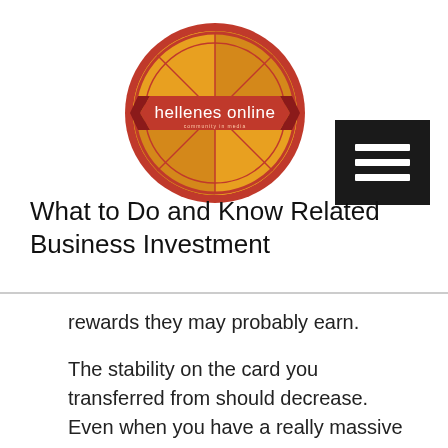[Figure (logo): Hellenes Online circular logo with red and gold design and red banner reading 'hellenes online']
What to Do and Know Related Business Investment
rewards they may probably earn.

The stability on the card you transferred from should decrease. Even when you have a really massive installment loan, it is better than owing the debt on a bank card. Significant life events often make people reevaluate their want for life